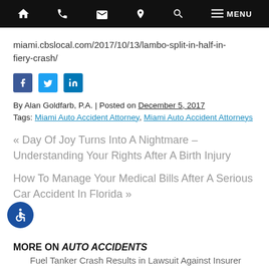Navigation bar with home, phone, email, location, search, and menu icons
miami.cbslocal.com/2017/10/13/lambo-split-in-half-in-fiery-crash/
[Figure (other): Social sharing icons: Facebook, Twitter, LinkedIn]
By Alan Goldfarb, P.A. | Posted on December 5, 2017
Tags: Miami Auto Accident Attorney, Miami Auto Accident Attorneys
« Day Of Joy Turns Into A Nightmare – Understanding Your Rights After A Birth Injury
How To Manage Your Medical Bills After A Serious Car Accident In Florida »
MORE ON AUTO ACCIDENTS
Fuel Tanker Crash Results in Lawsuit Against Insurer